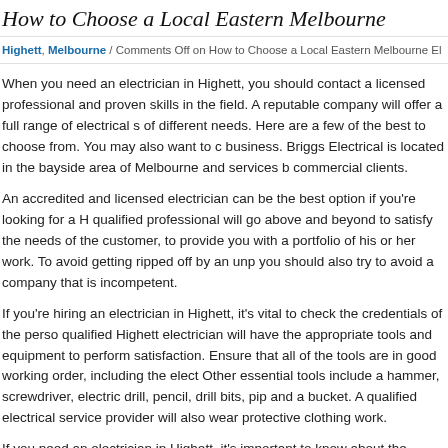How to Choose a Local Eastern Melbourne Electrician
Highett, Melbourne / Comments Off on How to Choose a Local Eastern Melbourne Electrician
When you need an electrician in Highett, you should contact a licensed professional and proven skills in the field. A reputable company will offer a full range of electrical services for different needs. Here are a few of the best to choose from. You may also want to consider a local business. Briggs Electrical is located in the bayside area of Melbourne and services both residential and commercial clients.
An accredited and licensed electrician can be the best option if you're looking for a Highett electrician. A qualified professional will go above and beyond to satisfy the needs of the customer, and should be able to provide you with a portfolio of his or her work. To avoid getting ripped off by an unprofessional electrician, you should also try to avoid a company that is incompetent.
If you're hiring an electrician in Highett, it's vital to check the credentials of the person you hire. A qualified Highett electrician will have the appropriate tools and equipment to perform the work to your satisfaction. Ensure that all of the tools are in good working order, including the electrical testing equipment. Other essential tools include a hammer, screwdriver, electric drill, pencil, drill bits, pipe cutters, a fish tape, and a bucket. A qualified electrical service provider will also wear protective clothing while performing their work.
If you need an electrician in Highett, it's important to know about the reputation of the electrician.